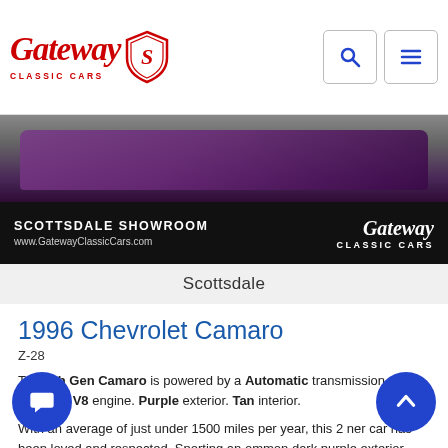Gateway Classic Cars — navigation header with logo, search and menu icons
[Figure (photo): Banner photo of a purple 1996 Chevrolet Camaro Z-28 at the Scottsdale Showroom, with Gateway Classic Cars branding and www.GatewayClassicCars.com URL overlay on dark background]
Scottsdale
1996 Chevrolet Camaro
Z-28
This 4th Gen Camaro is powered by a Automatic transmission and 350 5.7L V8 engine. Purple exterior. Tan interior.
With an average of just under 1500 miles per year, this 2 ner car has been loved and respected. Sporting an ommon dark purple exterior over tan leather interior, th stands out in a crowd! The original 5. 7 liter 350 cubic inc V8 is backed by a 4L60 automatic transmission with the stock